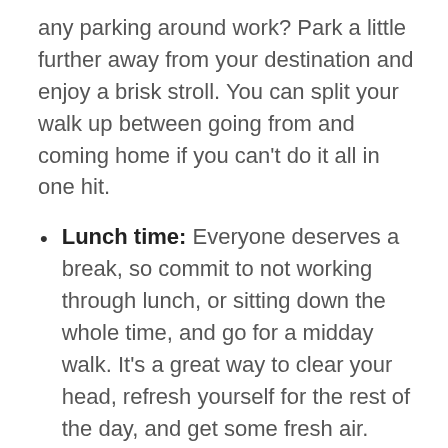any parking around work? Park a little further away from your destination and enjoy a brisk stroll. You can split your walk up between going from and coming home if you can't do it all in one hit.
Lunch time: Everyone deserves a break, so commit to not working through lunch, or sitting down the whole time, and go for a midday walk. It's a great way to clear your head, refresh yourself for the rest of the day, and get some fresh air. Grab a colleague and head out together to keep each other motivated.